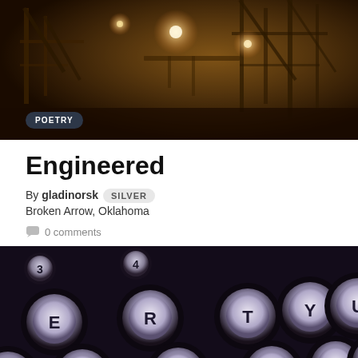[Figure (photo): Sepia-toned industrial machinery/factory scene with warm lighting and complex metal structures]
Engineered
By gladinorsk SILVER
Broken Arrow, Oklahoma
0 comments
[Figure (photo): Close-up of vintage typewriter keys showing letters E, R, T, Y, U, D, F, G, H, J on dark background]
CATEGORIES